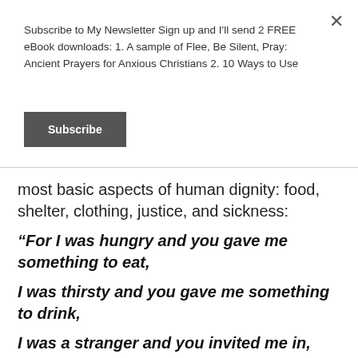Subscribe to My Newsletter Sign up and I'll send 2 FREE eBook downloads: 1. A sample of Flee, Be Silent, Pray: Ancient Prayers for Anxious Christians 2. 10 Ways to Use
Subscribe
most basic aspects of human dignity: food, shelter, clothing, justice, and sickness:
“For I was hungry and you gave me something to eat,
I was thirsty and you gave me something to drink,
I was a stranger and you invited me in,